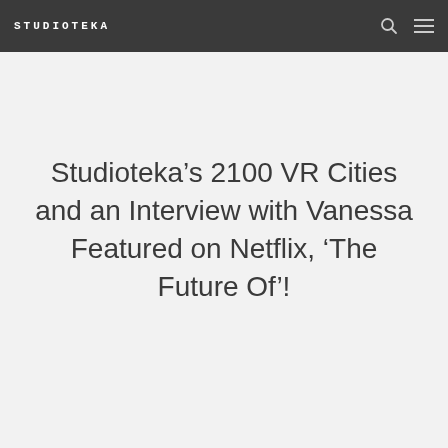STUDIOTEKA
Studioteka’s 2100 VR Cities and an Interview with Vanessa Featured on Netflix, ‘The Future Of’!